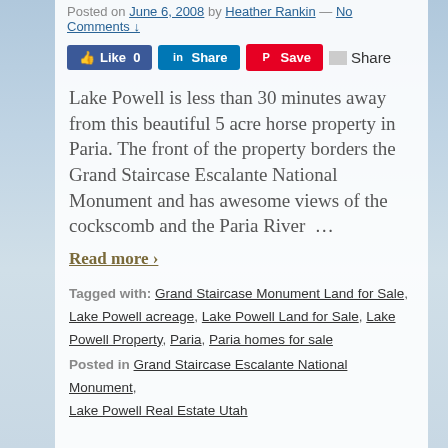Posted on June 6, 2008 by Heather Rankin — No Comments ↓
[Figure (infographic): Social sharing buttons: Like 0 (Facebook), Share (LinkedIn), Save (Pinterest), Share (generic)]
Lake Powell is less than 30 minutes away from this beautiful 5 acre horse property in Paria. The front of the property borders the Grand Staircase Escalante National Monument and has awesome views of the cockscomb and the Paria River …
Read more >
Tagged with: Grand Staircase Monument Land for Sale, Lake Powell acreage, Lake Powell Land for Sale, Lake Powell Property, Paria, Paria homes for sale
Posted in Grand Staircase Escalante National Monument, Lake Powell Real Estate Utah